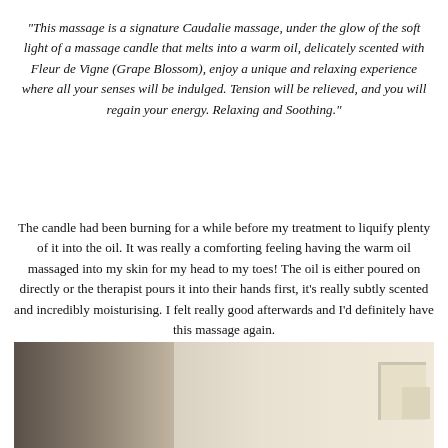“This massage is a signature Caudalie massage, under the glow of the soft light of a massage candle that melts into a warm oil, delicately scented with Fleur de Vigne (Grape Blossom), enjoy a unique and relaxing experience where all your senses will be indulged. Tension will be relieved, and you will regain your energy. Relaxing and Soothing.”
The candle had been burning for a while before my treatment to liquify plenty of it into the oil. It was really a comforting feeling having the warm oil massaged into my skin for my head to my toes! The oil is either poured on directly or the therapist pours it into their hands first, it’s really subtly scented and incredibly moisturising. I felt really good afterwards and I’d definitely have this massage again.
[Figure (photo): Interior photo showing a wooden beam or headboard element in dark brown/grey tones on the left side, with a light cream/beige wall or paneling visible on the right side, suggesting a spa or hotel room setting.]